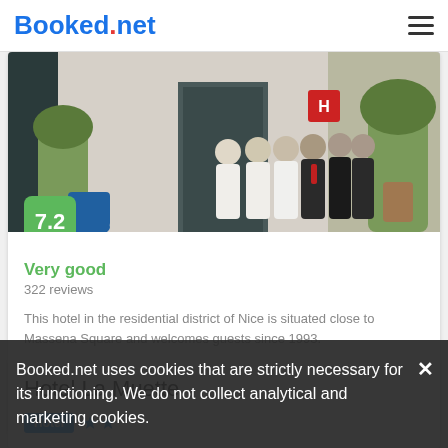Booked.net
[Figure (photo): Hotel entrance with group of staff members posing outside, score badge showing 7.2]
Very good
322 reviews
This hotel in the residential district of Nice is situated close to Massena Square and welcomes guests since 1993.
from us$ 86/night
SELECT
Hotel La Muette
Hotel ★★
Booked.net uses cookies that are strictly necessary for its functioning. We do not collect analytical and marketing cookies.